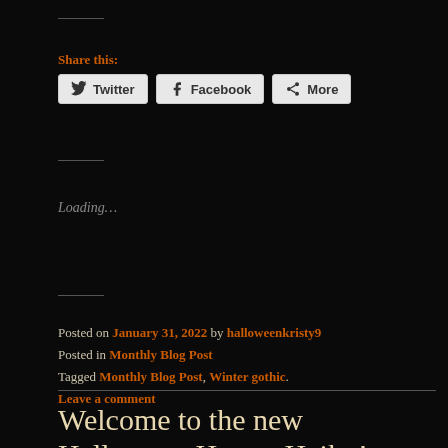Share this:
Twitter  Facebook  More
Loading…
Posted on January 31, 2022 by halloweenkristy9
Posted in Monthly Blog Post
Tagged Monthly Blog Post, Winter gothic.
Leave a comment
Welcome to the new Halloween Horror Haiku!